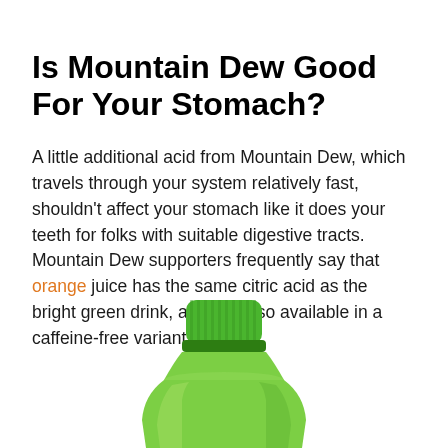Is Mountain Dew Good For Your Stomach?
A little additional acid from Mountain Dew, which travels through your system relatively fast, shouldn't affect your stomach like it does your teeth for folks with suitable digestive tracts. Mountain Dew supporters frequently say that orange juice has the same citric acid as the bright green drink, and it is also available in a caffeine-free variant.
[Figure (photo): Top portion of a green Mountain Dew plastic bottle with green cap, shown from above against a white background.]